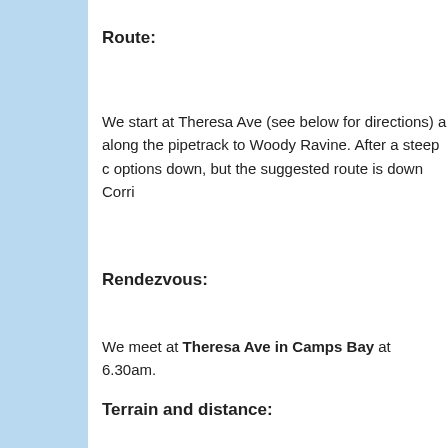Route:
We start at Theresa Ave (see below for directions) a along the pipetrack to Woody Ravine. After a steep c options down, but the suggested route is down Corri
Rendezvous:
We meet at Theresa Ave in Camps Bay at 6.30am.
Terrain and distance: